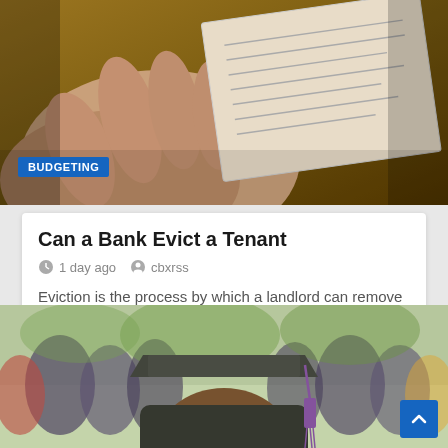[Figure (photo): A hand holding papers/documents on a wooden surface, photographed from above with shallow depth of field]
BUDGETING
Can a Bank Evict a Tenant
1 day ago   cbxrss
Eviction is the process by which a landlord can remove a tenant from his property. The landlord has the right to evict a tenant if he or she does not…
[Figure (photo): A graduation ceremony scene, showing a student in cap and gown (mortarboard with purple tassel) from behind, with other graduates in the background]